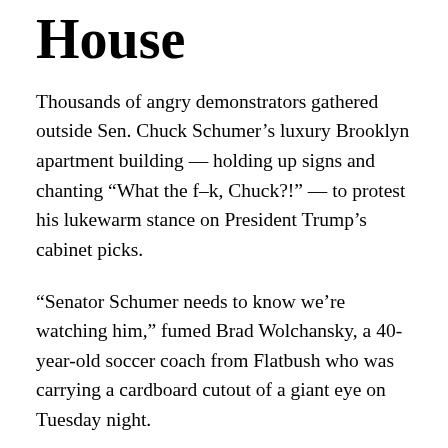House
Thousands of angry demonstrators gathered outside Sen. Chuck Schumer’s luxury Brooklyn apartment building — holding up signs and chanting “What the f–k, Chuck?!” — to protest his lukewarm stance on President Trump’s cabinet picks.
“Senator Schumer needs to know we’re watching him,” fumed Brad Wolchansky, a 40-year-old soccer coach from Flatbush who was carrying a cardboard cutout of a giant eye on Tuesday night.
“He works for us. We need him to be bold. We need him to stand up to Trump and we need his job.”